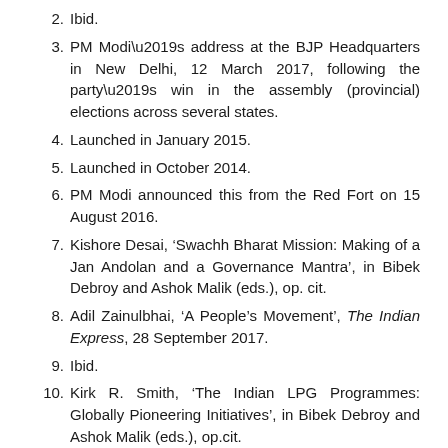2. Ibid.
3. PM Modi’s address at the BJP Headquarters in New Delhi, 12 March 2017, following the party’s win in the assembly (provincial) elections across several states.
4. Launched in January 2015.
5. Launched in October 2014.
6. PM Modi announced this from the Red Fort on 15 August 2016.
7. Kishore Desai, ‘Swachh Bharat Mission: Making of a Jan Andolan and a Governance Mantra’, in Bibek Debroy and Ashok Malik (eds.), op. cit.
8. Adil Zainulbhai, ‘A People’s Movement’, The Indian Express, 28 September 2017.
9. Ibid.
10. Kirk R. Smith, ‘The Indian LPG Programmes: Globally Pioneering Initiatives’, in Bibek Debroy and Ashok Malik (eds.), op.cit.
11. English rendering of the text of PM’s address